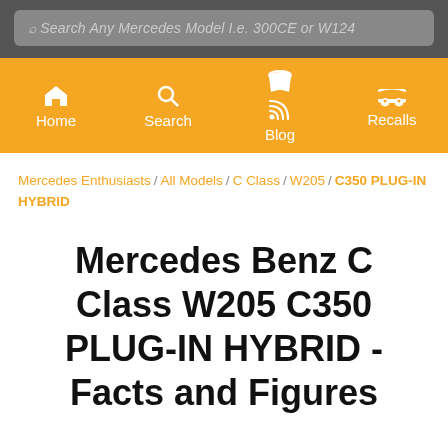Search Any Mercedes Model I.e. 300CE or W124
Home | Search | Blog | Recalls
Mercedes Enthusiasts / All Models / C Class / W205 / C350 PLUG-IN HYBRID
Mercedes Benz C Class W205 C350 PLUG-IN HYBRID - Facts and Figures